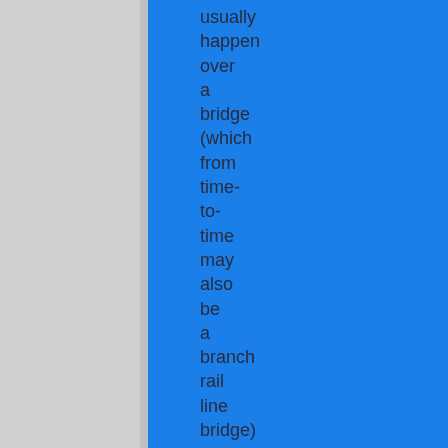usually happen over a bridge (which from time-to-time may also be a branch rail line bridge) or along a cliff-hugging section of